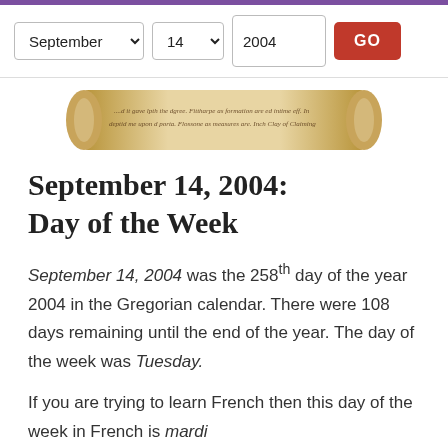September 14 GO
[Figure (illustration): A decorative scroll/parchment image with cursive handwriting text on it]
September 14, 2004: Day of the Week
September 14, 2004 was the 258th day of the year 2004 in the Gregorian calendar. There were 108 days remaining until the end of the year. The day of the week was Tuesday.
If you are trying to learn French then this day of the week in French is mardi